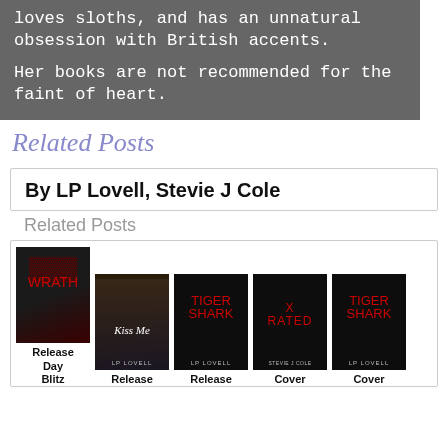loves sloths, and has an unnatural obsession with British accents.

Her books are not recommended for the faint of heart.
Related Posts
By LP Lovell, Stevie J Cole
Related Posts
[Figure (other): Row of five book covers: an ab-shot book with red title, 'Kiss Me' by LP Lovell, 'Tiger Shark' by LP Lovell, 'X Rated' by Stevie J Cole, and another 'Tiger Shark' by LP Lovell]
Release Day Blitz   Release   Release   Cover   Cover